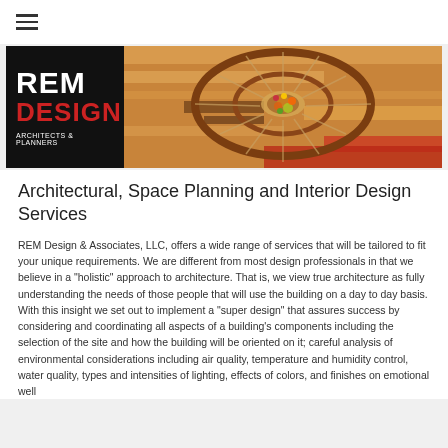≡ (hamburger menu)
[Figure (logo): REM Design Architects & Planners logo on black background alongside a top-down spiral staircase photo with warm orange/red tones]
Architectural, Space Planning and Interior Design Services
REM Design & Associates, LLC, offers a wide range of services that will be tailored to fit your unique requirements. We are different from most design professionals in that we believe in a "holistic" approach to architecture. That is, we view true architecture as fully understanding the needs of those people that will use the building on a day to day basis. With this insight we set out to implement a "super design" that assures success by considering and coordinating all aspects of a building's components including the selection of the site and how the building will be oriented on it; careful analysis of environmental considerations including air quality, temperature and humidity control, water quality, types and intensities of lighting, effects of colors, and finishes on emotional well